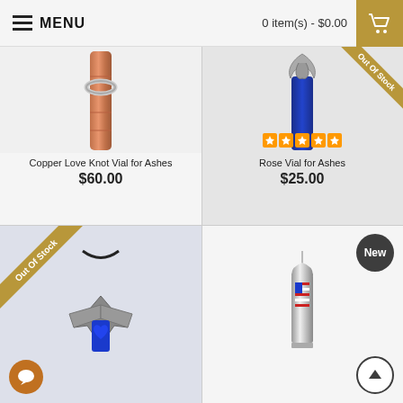MENU | 0 item(s) - $0.00
[Figure (photo): Copper-colored cylindrical vial with a silver love knot ring around it]
Copper Love Knot Vial for Ashes
$60.00
[Figure (photo): Blue cylindrical vial with silver rose/leaf design on top, with 5-star rating and Out Of Stock ribbon]
Rose Vial for Ashes
$25.00
[Figure (photo): Eagle pendant necklace with blue heart on blue cylinder vial, marked Out Of Stock]
[Figure (photo): Silver bullet-shaped vial pendant with American flag design, marked New]